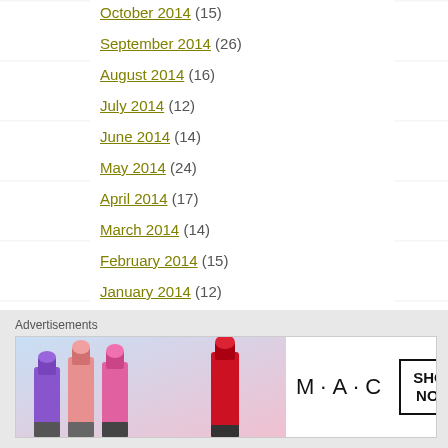October 2014 (15)
September 2014 (26)
August 2014 (16)
July 2014 (12)
June 2014 (14)
May 2014 (24)
April 2014 (17)
March 2014 (14)
February 2014 (15)
January 2014 (12)
December 2013 (4)
November 2013 (3)
October 2013 (3)
August 2013 (1)
Advertisements
[Figure (photo): MAC cosmetics advertisement showing colourful lipsticks with SHOP NOW box]